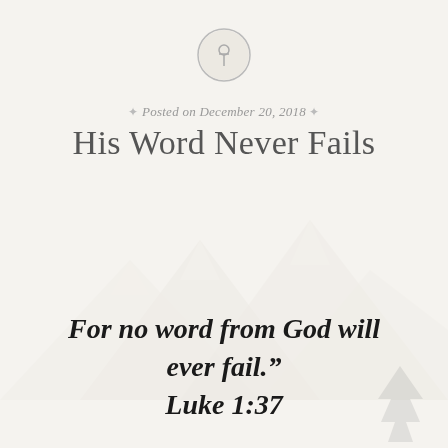[Figure (illustration): A circular pin/thumbtack icon with a pushpin symbol inside, rendered in light gray, centered near the top of the page]
Posted on December 20, 2018
His Word Never Fails
[Figure (illustration): Faint wintry mountain landscape background with snow, watermark-style, in the middle of the page]
For no word from God will ever fail." Luke 1:37
[Figure (illustration): Small faint evergreen tree illustration in the bottom right corner]